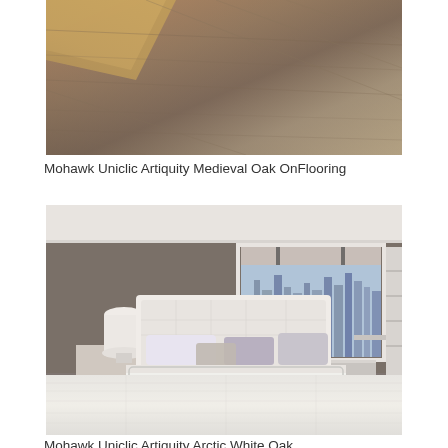[Figure (photo): Close-up photo of Mohawk Uniclic Artiquity Medieval Oak laminate flooring showing wood grain texture in warm brown/gray tones, with corner of a beige fabric visible]
Mohawk Uniclic Artiquity Medieval Oak OnFlooring
[Figure (photo): Bedroom interior photo featuring Mohawk Uniclic Artiquity Arctic White Oak flooring. The room has a white upholstered bed, gray walls, a large window showing a city skyline, white lamp and nightstand, and decorative shelving on the right.]
Mohawk Uniclic Artiquity Arctic White Oak